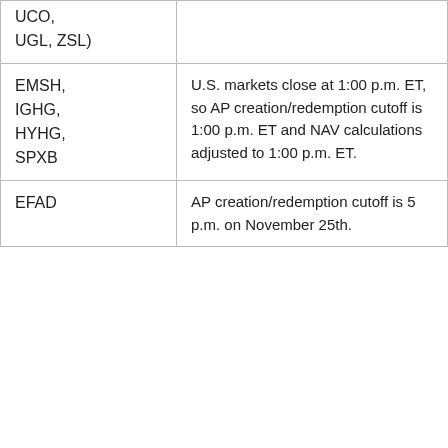| UCO, UGL, ZSL) |  |
| EMSH, IGHG, HYHG, SPXB | U.S. markets close at 1:00 p.m. ET, so AP creation/redemption cutoff is 1:00 p.m. ET and NAV calculations adjusted to 1:00 p.m. ET. |
| EFAD | AP creation/redemption cutoff is 5 p.m. on November 25th. |